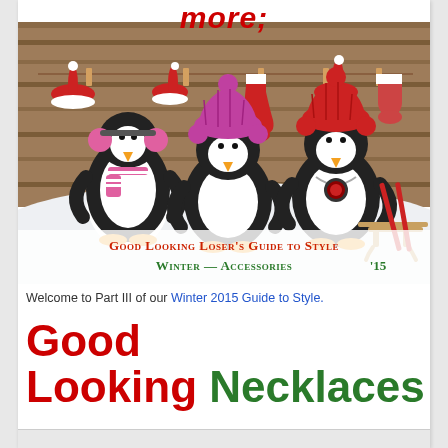more;
[Figure (illustration): Three cartoon penguins wearing winter accessories (earmuffs with scarf, pink knitted hat, red knitted hat with necklace) standing in snow in front of a wooden plank wall with Christmas items hanging on a clothesline. Text overlay reads 'Good Looking Loser's Guide to Style / Winter — Accessories '15']
Welcome to Part III of our Winter 2015 Guide to Style.
Good Looking Necklaces